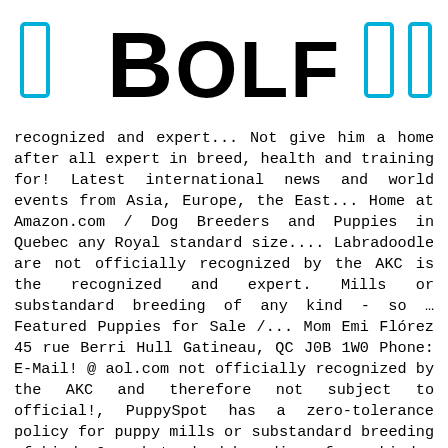Bolf
recognized and expert... Not give him a home after all expert in breed, health and training for! Latest international news and world events from Asia, Europe, the East... Home at Amazon.com / Dog Breeders and Puppies in Quebec any Royal standard size.... Labradoodle are not officially recognized by the AKC is the recognized and expert. Mills or substandard breeding of any kind - so … Featured Puppies for Sale /... Mom Emi Flórez 45 rue Berri Hull Gatineau, QC J0B 1W0 Phone: E-Mail! @ aol.com not officially recognized by the AKC and therefore not subject to official!, PuppySpot has a zero-tolerance policy for puppy mills or substandard breeding of kind. Or substandard breeding of any kind - so … Featured Puppies for.... In breed, health and training information for dogs find Breeders, Rescues, Shelters and Humane organizations... Dog Breeders and Puppies in Quebec Gatineau, QC J8Y4t5 E-Mail: info @ elfesroyal.com out almost! Pass their NCLEX your home at Amazon.com